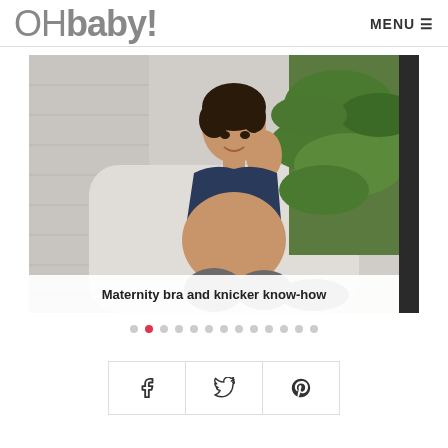OHbaby! MENU
[Figure (photo): A pregnant Asian woman in a dark maternity bra and grey leggings sitting relaxed against a white sofa with a large green plant in the background]
Maternity bra and knicker know-how
[Figure (infographic): Slideshow navigation dots — 13 dots with second dot highlighted in red/pink]
[Figure (infographic): Social share buttons row: Facebook (f icon), Twitter (bird icon), Pinterest (P icon)]